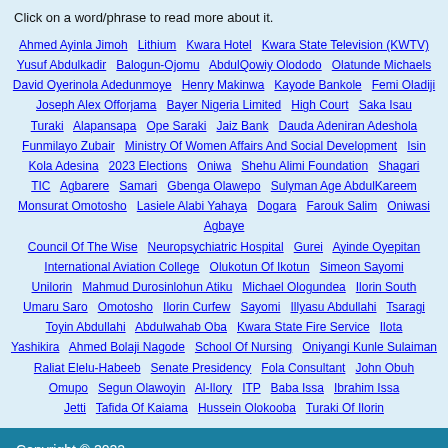Click on a word/phrase to read more about it.
Ahmed Ayinla Jimoh  Lithium  Kwara Hotel  Kwara State Television (KWTV)  Yusuf Abdulkadir  Balogun-Ojomu  AbdulQowiy Olododo  Olatunde Michaels  David Oyerinola Adedunmoye  Henry Makinwa  Kayode Bankole  Femi Oladiji  Joseph Alex Offorjama  Bayer Nigeria Limited  High Court  Saka Isau  Turaki  Alapansapa  Ope Saraki  Jaiz Bank  Dauda Adeniran Adeshola  Funmilayo Zubair  Ministry Of Women Affairs And Social Development  Isin  Kola Adesina  2023 Elections  Oniwa  Shehu Alimi Foundation  Shagari  TIC  Agbarere  Samari  Gbenga Olawepo  Sulyman Age AbdulKareem  Monsurat Omotosho  Lasiele Alabi Yahaya  Dogara  Farouk Salim  Oniwasi Agbaye  Council Of The Wise  Neuropsychiatric Hospital  Gurei  Ayinde Oyepitan  International Aviation College  Olukotun Of Ikotun  Simeon Sayomi  Unilorin  Mahmud Durosinlohun Atiku  Michael Ologundea  Ilorin South  Umaru Saro  Omotosho  Ilorin Curfew  Sayomi  Illyasu Abdullahi  Tsaragi  Toyin Abdullahi  Abdulwahab Oba  Kwara State Fire Service  Ilota  Yashikira  Ahmed Bolaji Nagode  School Of Nursing  Oniyangi Kunle Sulaiman  Raliat Elelu-Habeeb  Senate Presidency  Fola Consultant  John Obuh  Omupo  Segun Olawoyin  Al-Ilory  ITP  Baba Issa  Ibrahim Issa  Jetti  Tafida Of Kaiama  Hussein Olokooba  Turaki Of Ilorin
Copyright © 2022